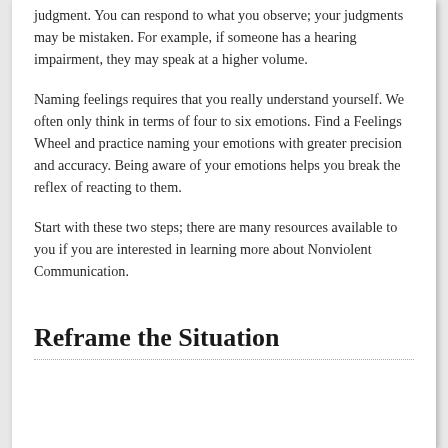judgment. You can respond to what you observe; your judgments may be mistaken. For example, if someone has a hearing impairment, they may speak at a higher volume.
Naming feelings requires that you really understand yourself. We often only think in terms of four to six emotions. Find a Feelings Wheel and practice naming your emotions with greater precision and accuracy. Being aware of your emotions helps you break the reflex of reacting to them.
Start with these two steps; there are many resources available to you if you are interested in learning more about Nonviolent Communication.
Reframe the Situation